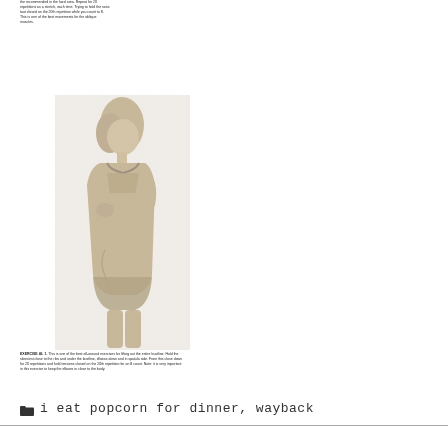the recommended in the hard area. Repeat for 20 repetitions as a stretch, each time. Trying to hold the rows taut closed on the 20th repetition while you count to 8. This is one of the best movements for the oblique muscles.
[Figure (photo): Black and white photograph of a woman in a bra and underwear standing sideways, full body exercise demonstration photo from a vintage fitness book.]
EXERCISE 46. 1. This is one of the best all-around exercises for lifting out the entire bustline. Hold the skinniest close to the ribs and under the bustline, elbows down and in spatula side. From this close down for 20 repetitions and hold tensions closed on the 20th repetition for an 8 count. Note: it is very important in this exercise to keep the elbows in close to the body.
i eat popcorn for dinner, wayback